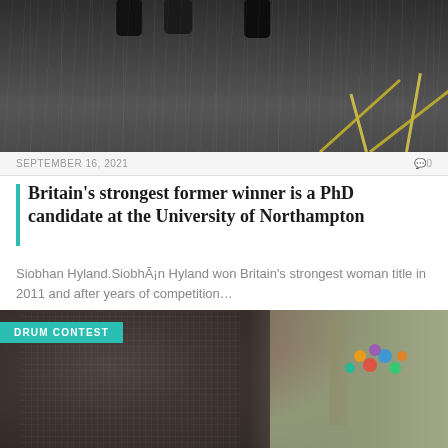[Figure (photo): Top portion of a wet pavement/road scene with feet/shoes visible at top and yellow lines on the ground]
SEPTEMBER 16, 2021   🗨0
Britain's strongest former winner is a PhD candidate at the University of Northampton
Siobhan Hyland.SiobhÃ¡n Hyland won Britain's strongest woman title in 2011 and after years of competition…
[Figure (photo): A person wearing chainmail and medieval armor photographing or interacting with a young child who has colorful pom-pom hair accessories. Tagged as DRUM CONTEST.]